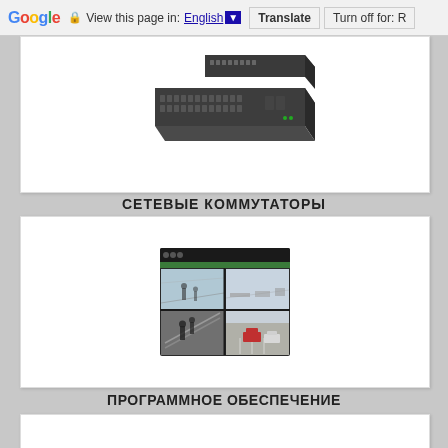Google  View this page in: English  Translate  Turn off for: R
[Figure (photo): Network switch hardware — a 24-port rack-mount Ethernet switch shown from above-front angle]
СЕТЕВЫЕ КОММУТАТОРЫ
[Figure (screenshot): Video Management Software interface showing a 4-camera grid view with lobby, office, stairwell, and parking lot camera feeds]
ПРОГРАММНОЕ ОБЕСПЕЧЕНИЕ